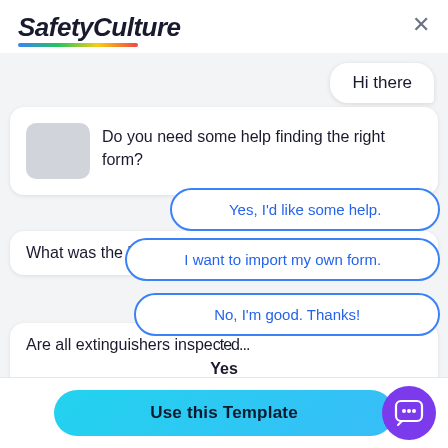[Figure (screenshot): SafetyCulture logo with italic bold text and rainbow underline gradient]
Hi there
Do you need some help finding the right form?
What was the last test date?
Yes, I'd like some help.
I want to import my own form.
Are all extinguishers inspected?
No, I'm good. Thanks!
Yes
Use this Template